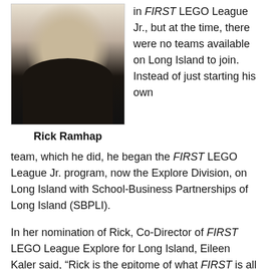[Figure (photo): Headshot of Rick Ramhap, a man in a dark polo shirt, against a light background]
Rick Ramhap
in FIRST LEGO League Jr., but at the time, there were no teams available on Long Island to join.  Instead of just starting his own team, which he did, he began the FIRST LEGO League Jr. program, now the Explore Division, on Long Island with School-Business Partnerships of Long Island (SBPLI).
In her nomination of Rick, Co-Director of FIRST LEGO League Explore for Long Island, Eileen Kaler said, “Rick is the epitome of what FIRST is all about.  He truly loves the program, and his passion for it is contagious and you can tell it is about it Rick and the Explore